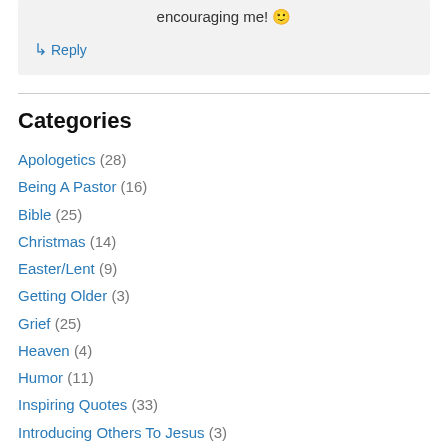encouraging me! 🙂
↳ Reply
Categories
Apologetics (28)
Being A Pastor (16)
Bible (25)
Christmas (14)
Easter/Lent (9)
Getting Older (3)
Grief (25)
Heaven (4)
Humor (11)
Inspiring Quotes (33)
Introducing Others To Jesus (3)
Lessons for Middle Schoolers (27)